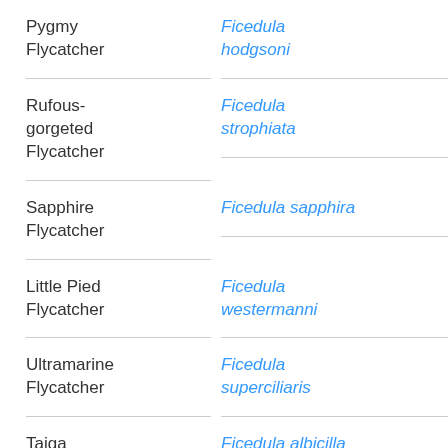| Common Name | Scientific Name |
| --- | --- |
| Pygmy Flycatcher | Ficedula hodgsoni |
| Rufous-gorgeted Flycatcher | Ficedula strophiata |
| Sapphire Flycatcher | Ficedula sapphira |
| Little Pied Flycatcher | Ficedula westermanni |
| Ultramarine Flycatcher | Ficedula superciliaris |
| Taiga Flycatcher | Ficedula albicilla |